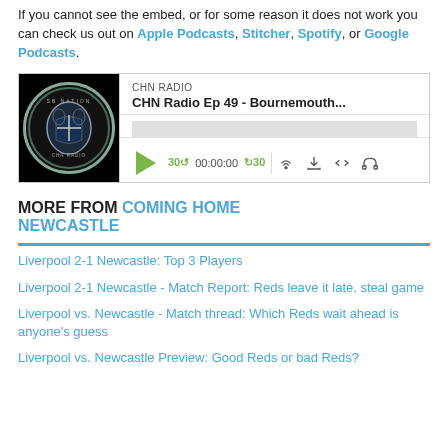If you cannot see the embed, or for some reason it does not work you can check us out on Apple Podcasts, Stitcher, Spotify, or Google Podcasts.
[Figure (other): CHN Radio podcast player widget showing 'CHN Radio Ep 49 - Bournemouth...' with play button, progress bar, and controls including 30-second skip back, 00:00:00 timestamp, 30-second skip forward, and icons for share, download, embed, and headphones.]
MORE FROM COMING HOME NEWCASTLE
Liverpool 2-1 Newcastle: Top 3 Players
Liverpool 2-1 Newcastle - Match Report: Reds leave it late, steal game
Liverpool vs. Newcastle - Match thread: Which Reds wait ahead is anyone's guess
Liverpool vs. Newcastle Preview: Good Reds or bad Reds?